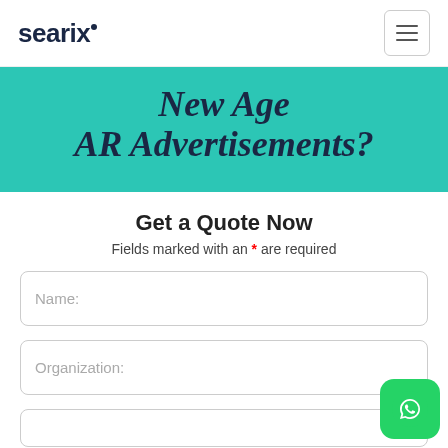searix
New Age AR Advertisements?
Get a Quote Now
Fields marked with an * are required
Name:
Organization: